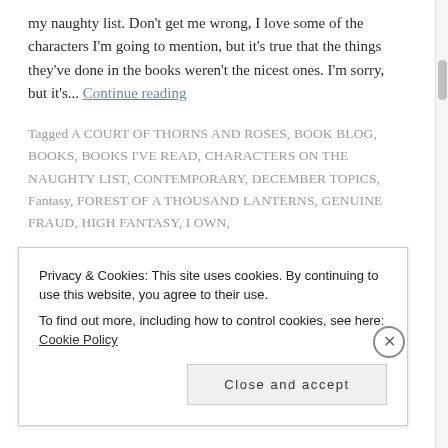my naughty list. Don't get me wrong, I love some of the characters I'm going to mention, but it's true that the things they've done in the books weren't the nicest ones. I'm sorry, but it's... Continue reading
Tagged A COURT OF THORNS AND ROSES, BOOK BLOG, BOOKS, BOOKS I'VE READ, CHARACTERS ON THE NAUGHTY LIST, CONTEMPORARY, DECEMBER TOPICS, Fantasy, FOREST OF A THOUSAND LANTERNS, GENUINE FRAUD, HIGH FANTASY, I OWN,
Privacy & Cookies: This site uses cookies. By continuing to use this website, you agree to their use. To find out more, including how to control cookies, see here: Cookie Policy
Close and accept